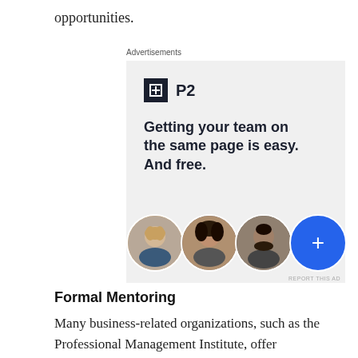opportunities.
[Figure (other): Advertisement for P2 product showing logo, headline 'Getting your team on the same page is easy. And free.' and three avatar profile photos with a blue plus button.]
Formal Mentoring
Many business-related organizations, such as the Professional Management Institute, offer opportunities for networking through local chapters,